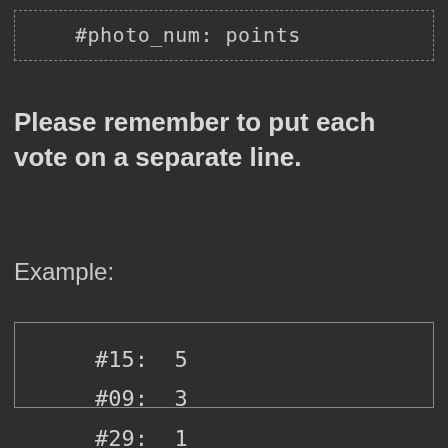#photo_num: points
Please remember to put each vote on a separate line.
Example:
#15: 5
#09: 3
#29: 1